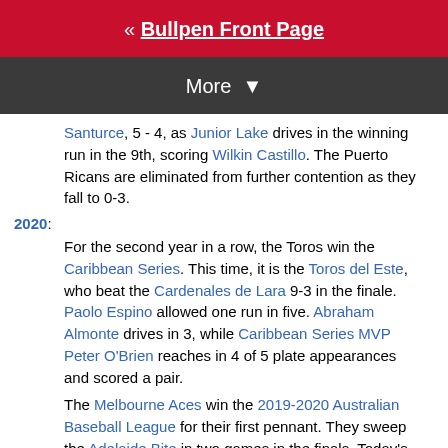« Bullpen Front Page
More ▼
Santurce, 5 - 4, as Junior Lake drives in the winning run in the 9th, scoring Wilkin Castillo. The Puerto Ricans are eliminated from further contention as they fall to 0-3.
2020:
For the second year in a row, the Toros win the Caribbean Series. This time, it is the Toros del Este, who beat the Cardenales de Lara 9-3 in the finale. Paolo Espino allowed one run in five. Abraham Almonte drives in 3, while Caribbean Series MVP Peter O'Brien reaches in 4 of 5 plate appearances and scored a pair.
The Melbourne Aces win the 2019-2020 Australian Baseball League for their first pennant. They sweep the Adelaide Bite in two games in the finals. Today's 6-3 win is powered by homers from Delmon Young and Shane Robinson while Wes Helsabeck gets the victory.
Births